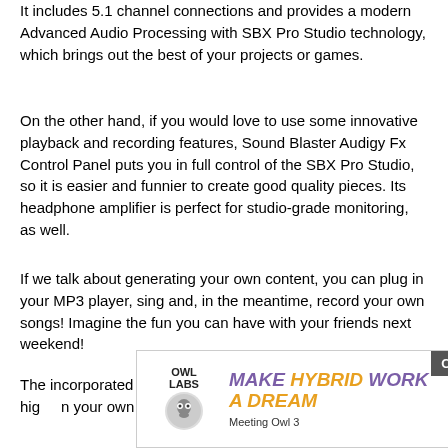It includes 5.1 channel connections and provides a modern Advanced Audio Processing with SBX Pro Studio technology, which brings out the best of your projects or games.
On the other hand, if you would love to use some innovative playback and recording features, Sound Blaster Audigy Fx Control Panel puts you in full control of the SBX Pro Studio, so it is easier and funnier to create good quality pieces. Its headphone amplifier is perfect for studio-grade monitoring, as well.
If we talk about generating your own content, you can plug in your MP3 player, sing and, in the meantime, record your own songs! Imagine the fun you can have with your friends next weekend!
The incorporated Stereo Direct also features music at the high... in your own in... e to
[Figure (other): Advertisement banner for Owl Labs Meeting Owl 3 with text 'MAKE HYBRID WORK A DREAM' and a Close X button overlay]